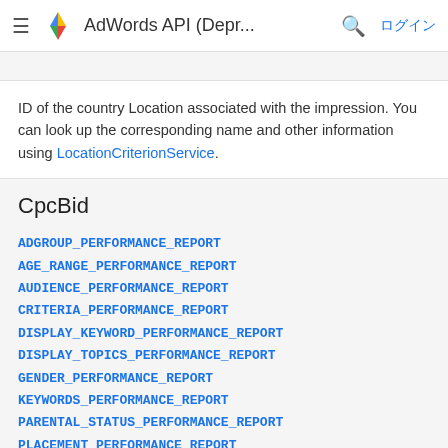AdWords API (Depr... ログイン
ID of the country Location associated with the impression. You can look up the corresponding name and other information using LocationCriterionService.
CpcBid
ADGROUP_PERFORMANCE_REPORT
AGE_RANGE_PERFORMANCE_REPORT
AUDIENCE_PERFORMANCE_REPORT
CRITERIA_PERFORMANCE_REPORT
DISPLAY_KEYWORD_PERFORMANCE_REPORT
DISPLAY_TOPICS_PERFORMANCE_REPORT
GENDER_PERFORMANCE_REPORT
KEYWORDS_PERFORMANCE_REPORT
PARENTAL_STATUS_PERFORMANCE_REPORT
PLACEMENT_PERFORMANCE_REPORT
PRODUCT_PARTITION_REPORT